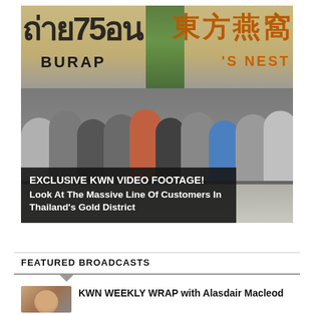[Figure (photo): Video screenshot showing a massive crowd of customers lining up outside shops in Thailand's Gold District with Thai and Chinese signage visible (BURAP and S. NEST signs). An overlay text bar reads: EXCLUSIVE KWN VIDEO FOOTAGE! Look At The Massive Line Of Customers In Thailand's Gold District]
FEATURED BROADCASTS
KWN WEEKLY WRAP with Alasdair Macleod